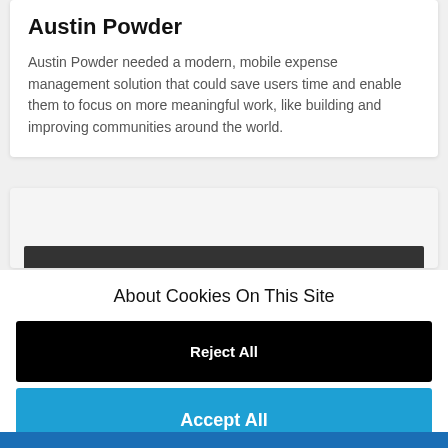Austin Powder
Austin Powder needed a modern, mobile expense management solution that could save users time and enable them to focus on more meaningful work, like building and improving communities around the world.
[Figure (screenshot): Partial screenshot of a second card with a dark navigation bar visible at the bottom]
About Cookies On This Site
Reject All
Accept All